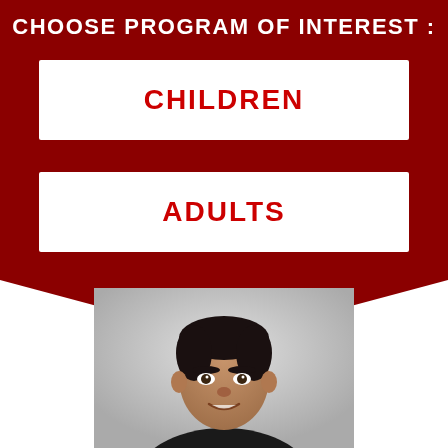CHOOSE PROGRAM OF INTEREST :
CHILDREN
ADULTS
[Figure (photo): Headshot photo of a man with dark hair, smiling, against a light gradient background]